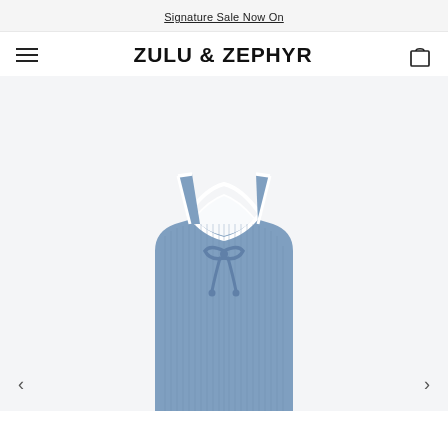Signature Sale Now On
ZULU & ZEPHYR
[Figure (photo): A blue ribbed knit sleeveless top with a white contrast collar and a drawstring tie at the neckline, displayed on a white background. The top is cropped and shows the front neckline detail.]